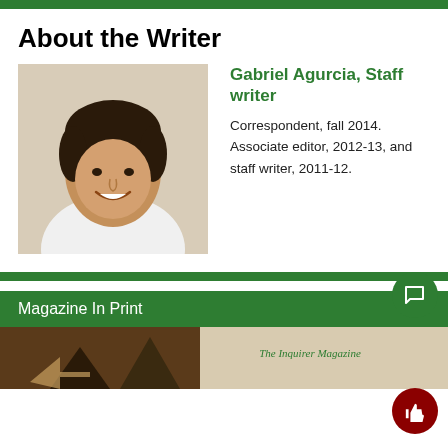About the Writer
[Figure (photo): Headshot of Gabriel Agurcia, a young man smiling, wearing a white t-shirt against a light background]
Gabriel Agurcia, Staff writer
Correspondent, fall 2014. Associate editor, 2012-13, and staff writer, 2011-12.
Magazine In Print
[Figure (photo): Bottom partial image showing magazine or printed material with The Inquirer Magazine text]